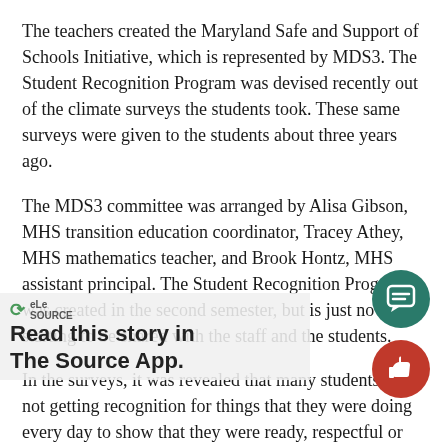The teachers created the Maryland Safe and Support of Schools Initiative, which is represented by MDS3. The Student Recognition Program was devised recently out of the climate surveys the students took. These same surveys were given to the students about three years ago.
The MDS3 committee was arranged by Alisa Gibson, MHS transition education coordinator, Tracey Athey, MHS mathematics teacher, and Brook Hontz, MHS assistant principal. The Student Recognition Program was created in the second semester, but is just now starting to be shared with the staff and the students.
In the surveys, it was revealed that many students were not getting recognition for things that they were doing every day to show that they were ready, respectful or relentless.
[Figure (other): Read this story in The Source App overlay banner with green swirl logo and SOURCE text]
[Figure (other): Teal circular comment/chat bubble button (floating action button)]
[Figure (other): Red circular thumbs-up like button (floating action button)]